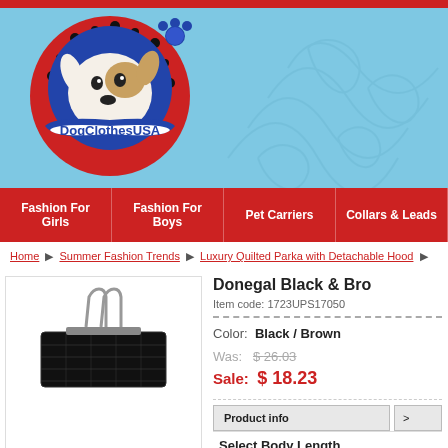[Figure (logo): DogClothesUSA logo: cartoon dog peeking over a red and blue circular badge with paw print pattern, blue banner with DogClothesUSA text, light blue background with decorative floral swirls]
Fashion For Girls | Fashion For Boys | Pet Carriers | Collars & Leads
Home ▶ Summer Fashion Trends ▶ Luxury Quilted Parka with Detachable Hood
[Figure (photo): Product photo of a black quilted dog parka/carrier bag viewed from above, showing zipper handles]
Donegal Black & Bro
Item code: 1723UPS17050
Color: Black / Brown
Was: $ 26.03
Sale: $ 18.23
Product info
Select Body Length